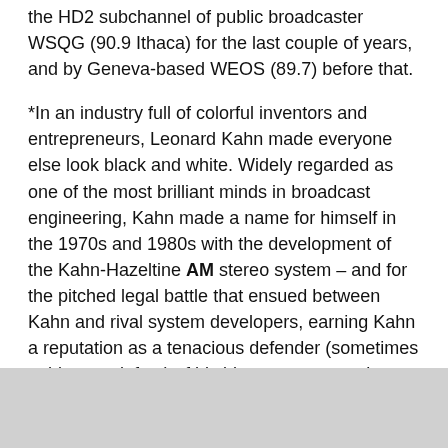the HD2 subchannel of public broadcaster WSQG (90.9 Ithaca) for the last couple of years, and by Geneva-based WEOS (89.7) before that.
*In an industry full of colorful inventors and entrepreneurs, Leonard Kahn made everyone else look black and white. Widely regarded as one of the most brilliant minds in broadcast engineering, Kahn made a name for himself in the 1970s and 1980s with the development of the Kahn-Hazeltine AM stereo system – and for the pitched legal battle that ensued between Kahn and rival system developers, earning Kahn a reputation as a tenacious defender (sometimes to his own defeat) of his ideas, patents and engineering principles.
From his Long Island laboratory, Kahn went on to develop